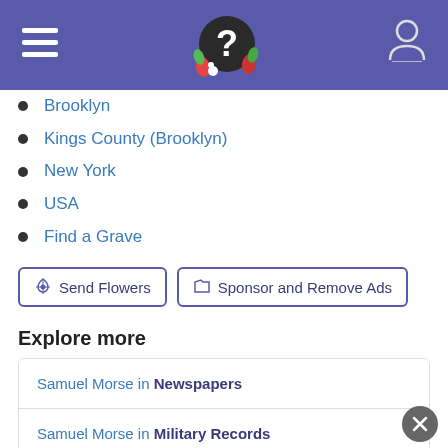Find A Grave header with logo and navigation
Brooklyn
Kings County (Brooklyn)
New York
USA
Find a Grave
Send Flowers | Sponsor and Remove Ads
Explore more
Samuel Morse in Newspapers
Samuel Morse in Military Records
View more records for Samuel Morse at Ancestry.com
Discover more with a simple DNA test